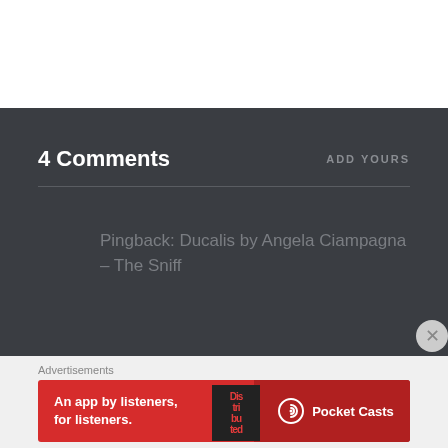4 Comments
ADD YOURS
Pingback: Ducalis by Angela Ciampagna – The Sniff
Advertisements
[Figure (infographic): Pocket Casts advertisement banner: red background with 'An app by listeners, for listeners.' text, a phone/app graphic with 'Distributed' label, and Pocket Casts logo with name on darker red right side.]